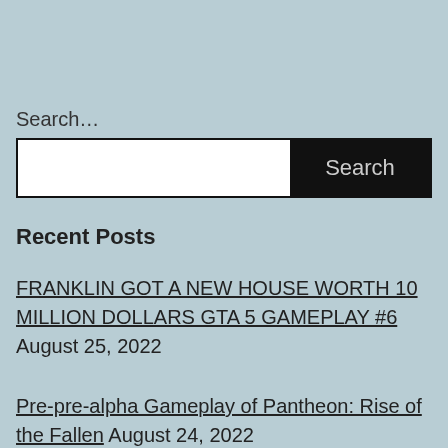Search…
[Figure (screenshot): Search input box with white text field on the left and black Search button on the right]
Recent Posts
FRANKLIN GOT A NEW HOUSE WORTH 10 MILLION DOLLARS GTA 5 GAMEPLAY #6 August 25, 2022
Pre-pre-alpha Gameplay of Pantheon: Rise of the Fallen August 24, 2022